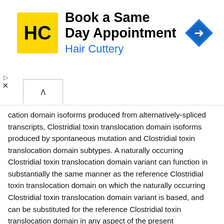[Figure (advertisement): Hair Cuttery advertisement banner: 'Book a Same Day Appointment' with HC logo and blue navigation arrow icon]
cation domain isoforms produced from alternatively-spliced transcripts, Clostridial toxin translocation domain isoforms produced by spontaneous mutation and Clostridial toxin translocation domain subtypes. A naturally occurring Clostridial toxin translocation domain variant can function in substantially the same manner as the reference Clostridial toxin translocation domain on which the naturally occurring Clostridial toxin translocation domain variant is based, and can be substituted for the reference Clostridial toxin translocation domain in any aspect of the present specification.
A non-limiting examples of a naturally occurring Clostridial toxin translocation domain variant is a Clostridial toxin translocation domain isoform such as, e.g., a BoNT/A translocation domain isoform, a BoNT/B translocation domain isoform, a BoNT/C1 translocation domain isoform, a BoNT/D translocation domain isoform, a BoNT/E translocation domain isoform, a BoNT/F translocation domain isoform, a BoNT/G translocation domain isoform, a TeNT translocation domain isoform, a BaNT translocation domain isoform, and a BuNT translocation domain isoform. Another non-limiting examples of a naturally occurring Clostridial toxin translocation